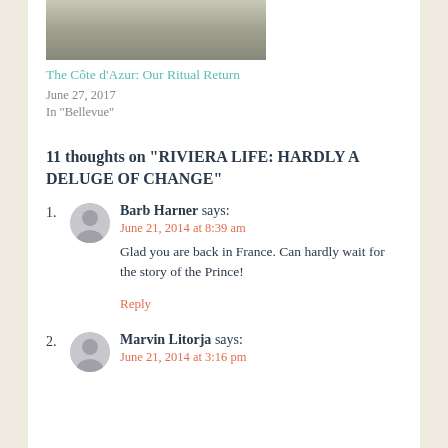[Figure (photo): Partial thumbnail photo of a scene, cropped at top]
The Côte d'Azur: Our Ritual Return
June 27, 2017
In "Bellevue"
11 thoughts on "RIVIERA LIFE: HARDLY A DELUGE OF CHANGE"
1. Barb Harner says: June 21, 2014 at 8:39 am — Glad you are back in France. Can hardly wait for the story of the Prince!
Reply
2. Marvin Litorja says: June 21, 2014 at 3:16 pm